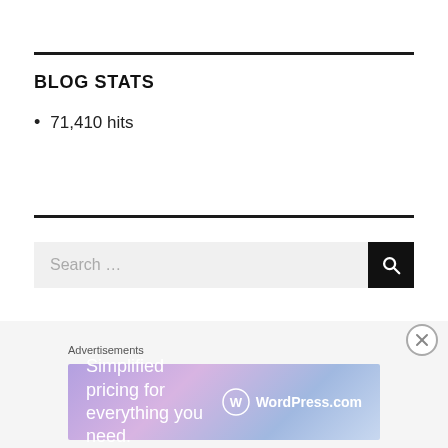BLOG STATS
71,410 hits
[Figure (other): Search bar with text input showing 'Search ...' placeholder and a black search button with magnifying glass icon]
[Figure (infographic): WordPress.com advertisement banner with gradient background showing 'Simplified pricing for everything you need.' and WordPress.com logo]
Advertisements